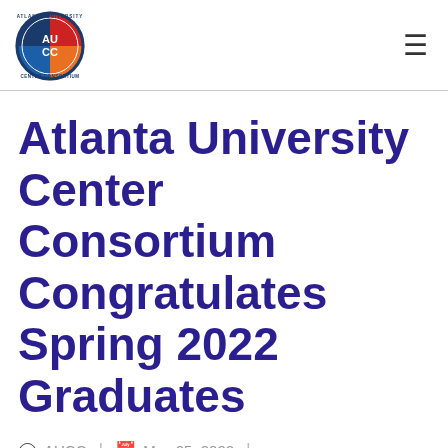AUCC logo and navigation menu
Atlanta University Center Consortium Congratulates Spring 2022 Graduates
AUCC | May 25, 2022
Featured Stories, News, Press Releases